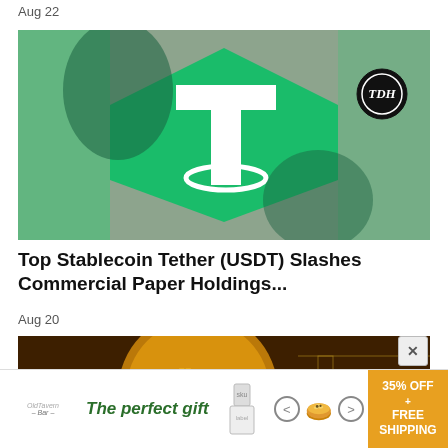Aug 22
[Figure (photo): Hands holding a green hexagonal Tether (USDT) cryptocurrency token with large T logo, with TDH badge in top right corner]
Top Stablecoin Tether (USDT) Slashes Commercial Paper Holdings...
Aug 20
[Figure (photo): Gold Bitcoin coin on circuit board background with TDH badge in top right corner, partially cut off]
[Figure (infographic): Advertisement banner: The perfect gift - 35% OFF + FREE SHIPPING with product images and navigation arrows]